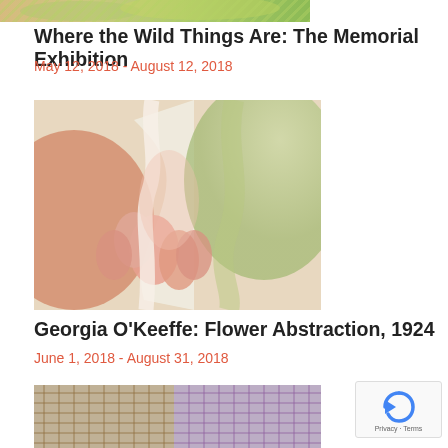[Figure (photo): Top strip of an artwork image with green and warm tones, partially cropped]
Where the Wild Things Are: The Memorial Exhibition
May 12, 2018 - August 12, 2018
[Figure (photo): Georgia O'Keeffe flower abstraction painting showing soft pink and green organic forms]
Georgia O'Keeffe: Flower Abstraction, 1924
June 1, 2018 - August 31, 2018
[Figure (photo): Architectural wire-frame or grid structure sculpture, partially cropped at bottom of page]
[Figure (other): reCAPTCHA widget with arrow icon and Privacy · Terms text]